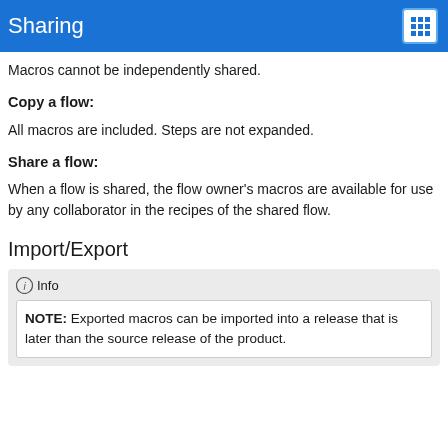Sharing
Macros cannot be independently shared.
Copy a flow:
All macros are included. Steps are not expanded.
Share a flow:
When a flow is shared, the flow owner's macros are available for use by any collaborator in the recipes of the shared flow.
Import/Export
Info
NOTE: Exported macros can be imported into a release that is later than the source release of the product.